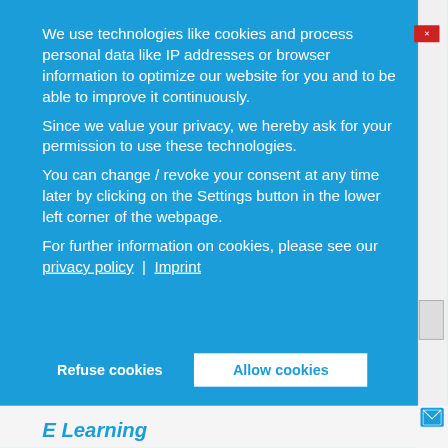We use technologies like cookies and process personal data like IP addresses or browser information to optimize our website for you and to be able to improve it continuously.
Since we value your privacy, we hereby ask for your permission to use these technologies.
You can change / revoke your consent at any time later by clicking on the Settings button in the lower left corner of the webpage.
For further information on cookies, please see our privacy policy | Imprint
[Figure (screenshot): Cookie consent overlay on a blue background with Refuse cookies and Allow cookies buttons]
E Learning